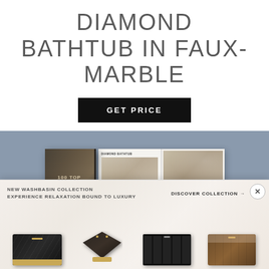DIAMOND BATHTUB IN FAUX-MARBLE
GET PRICE
[Figure (photo): Open interior design book titled '100 Top Interior Designers' with visible spreads showing room interiors, displayed on a blue-grey background.]
[Figure (photo): Popup advertisement banner for a new washbasin collection. Text reads 'NEW WASHBASIN COLLECTION / EXPERIENCE RELAXATION BOUND TO LUXURY' and 'DISCOVER COLLECTION →'. Shows four luxury washbasin products against a marble background.]